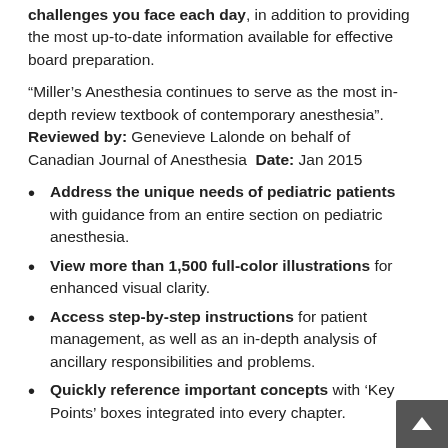challenges you face each day, in addition to providing the most up-to-date information available for effective board preparation.
“Miller’s Anesthesia continues to serve as the most in-depth review textbook of contemporary anesthesia”. Reviewed by: Genevieve Lalonde on behalf of Canadian Journal of Anesthesia  Date: Jan 2015
Address the unique needs of pediatric patients with guidance from an entire section on pediatric anesthesia.
View more than 1,500 full-color illustrations for enhanced visual clarity.
Access step-by-step instructions for patient management, as well as an in-depth analysis of ancillary responsibilities and problems.
Quickly reference important concepts with ‘Key Points’ boxes integrated into every chapter.